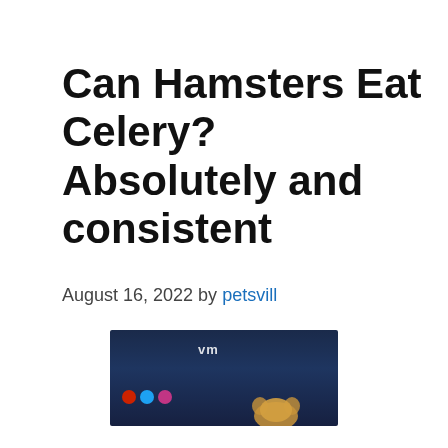Can Hamsters Eat Celery? Absolutely and consistent
August 16, 2022 by petsvill
[Figure (photo): A hamster photo with a dark blue background showing social media icons (red, blue, pink circles) and a logo reading 'vm' in white text, with a hamster visible at the bottom right.]